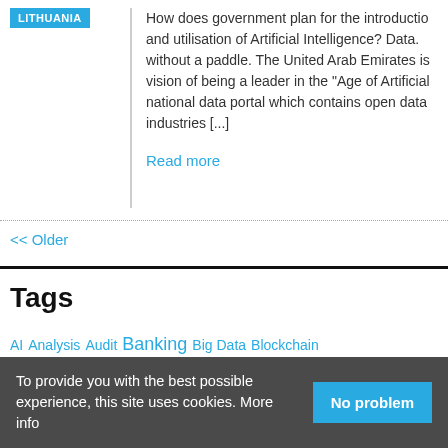LITHUANIA
How does government plan for the introduction and utilisation of Artificial Intelligence? Data. without a paddle. The United Arab Emirates is vision of being a leader in the "Age of Artificial national data portal which contains open data industries [...]
Read more
<< Older
Tags
AI Analysis Audit Banking Big Data Blockchain Climate Data Data Quality Digitisation Disclosure ESG FREE FSG
To provide you with the best possible experience, this site uses cookies. More info